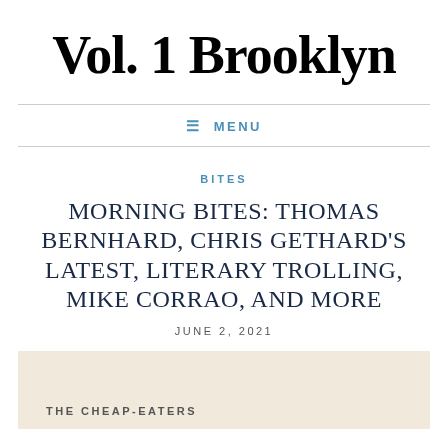Vol. 1 Brooklyn
≡ MENU
BITES
MORNING BITES: THOMAS BERNHARD, CHRIS GETHARD'S LATEST, LITERARY TROLLING, MIKE CORRAO, AND MORE
JUNE 2, 2021
THE CHEAP-EATERS